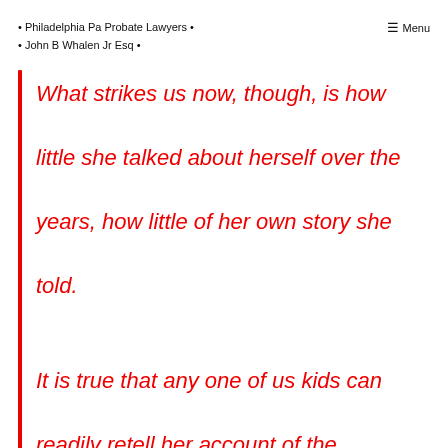• Philadelphia Pa Probate Lawyers •
• John B Whalen Jr Esq •
≡ Menu
What strikes us now, though, is how little she talked about herself over the years, how little of her own story she told.

It is true that any one of us kids can readily retell her account of the Saturday afternoon she went to the